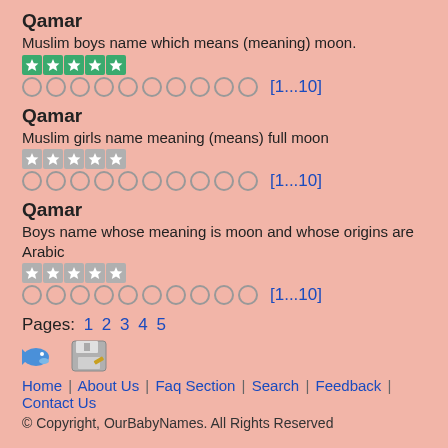Qamar
Muslim boys name which means (meaning) moon.
★★★★★ (5 green stars)
○○○○○○○○○○ [1...10]
Qamar
Muslim girls name meaning (means) full moon
★★★★★ (5 gray stars)
○○○○○○○○○○ [1...10]
Qamar
Boys name whose meaning is moon and whose origins are Arabic
★★★★★ (5 gray stars)
○○○○○○○○○○ [1...10]
Pages: 1 2 3 4 5
[Figure (illustration): Small fish icon and floppy disk save icon]
Home | About Us | Faq Section | Search | Feedback | Contact Us
© Copyright, OurBabyNames. All Rights Reserved